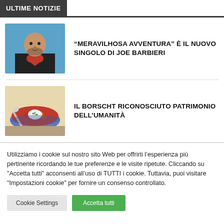ULTIME NOTIZIE
“MERAVILHOSA AVVENTURA” È IL NUOVO SINGOLO DI JOE BARBIERI
[Figure (photo): Photo of Joe Barbieri, a man with a shaved head and beard wearing a black top with a red heart design, against a blue background]
IL BORSCHT RICONOSCIUTO PATRIMONIO DELL’UMANITÀ
[Figure (photo): Photo of a bowl of borscht soup with red beet broth, vegetables, and a white cream topping, with a spoon, in a blue bowl]
Utilizziamo i cookie sul nostro sito Web per offrirti l’esperienza più pertinente ricordando le tue preferenze e le visite ripetute. Cliccando su "Accetta tutti" acconsenti all’uso di TUTTI i cookie. Tuttavia, puoi visitare "Impostazioni cookie" per fornire un consenso controllato.
Cookie Settings
Accetta tutti